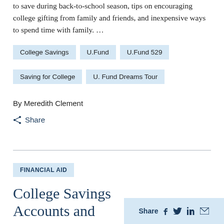to save during back-to-school season, tips on encouraging college gifting from family and friends, and inexpensive ways to spend time with family. …
College Savings
U.Fund
U.Fund 529
Saving for College
U. Fund Dreams Tour
By Meredith Clement
Share
FINANCIAL AID
College Savings Accounts and Financial Aid
Share